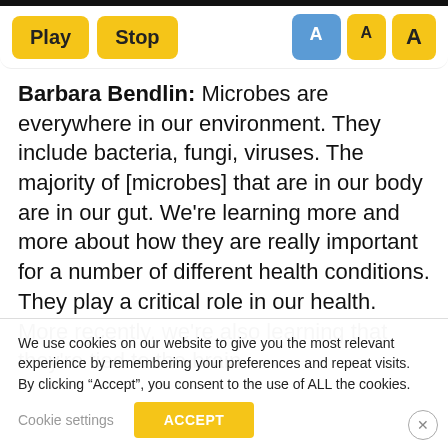[Figure (screenshot): Toolbar with Play, Stop buttons in yellow and font size buttons (A selected in blue, A, A in yellow)]
Barbara Bendlin: Microbes are everywhere in our environment. They include bacteria, fungi, viruses. The majority of [microbes] that are in our body are in our gut. We're learning more and more about how they are really important for a number of different health conditions. They play a critical role in our health. More recently, we're also learning that they're tied to the brain.
We use cookies on our website to give you the most relevant experience by remembering your preferences and repeat visits. By clicking “Accept”, you consent to the use of ALL the cookies.
Cookie settings  ACCEPT